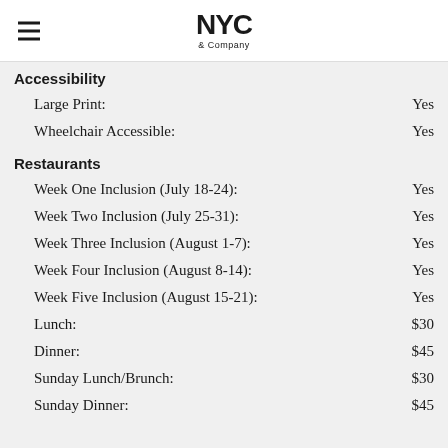NYC & Company
Accessibility
Large Print: Yes
Wheelchair Accessible: Yes
Restaurants
Week One Inclusion (July 18-24): Yes
Week Two Inclusion (July 25-31): Yes
Week Three Inclusion (August 1-7): Yes
Week Four Inclusion (August 8-14): Yes
Week Five Inclusion (August 15-21): Yes
Lunch: $30
Dinner: $45
Sunday Lunch/Brunch: $30
Sunday Dinner: $45